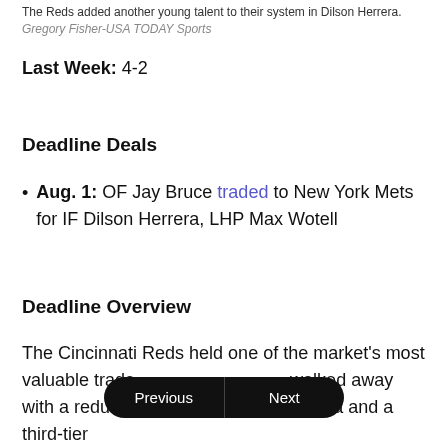The Reds added another young talent to their system in Dilson Herrera. Gregory Fisher-USA TODAY Sports
Last Week: 4-2
Deadline Deals
Aug. 1: OF Jay Bruce traded to New York Mets for IF Dilson Herrera, LHP Max Wotell
Deadline Overview
The Cincinnati Reds held one of the market's most valuable trade [deadlines and] walked away with a redundant piece in Dilson Herrera and a third-tier